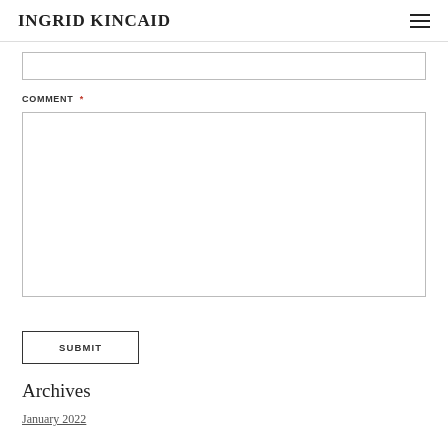INGRID KINCAID
COMMENT *
Archives
January 2022